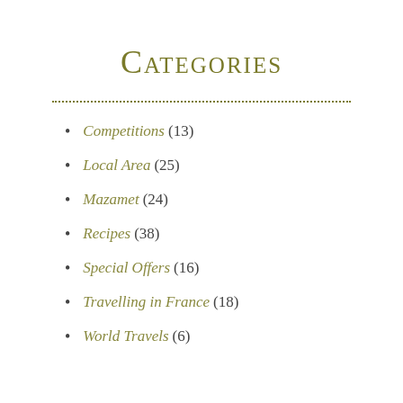Categories
Competitions (13)
Local Area (25)
Mazamet (24)
Recipes (38)
Special Offers (16)
Travelling in France (18)
World Travels (6)